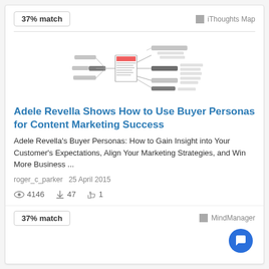37% match
iThoughts Map
[Figure (other): Mind map thumbnail showing a radial/hierarchical map diagram with nodes and branches]
Adele Revella Shows How to Use Buyer Personas for Content Marketing Success
Adele Revella's Buyer Personas: How to Gain Insight into Your Customer's Expectations, Align Your Marketing Strategies, and Win More Business ...
roger_c_parker  25 April 2015
4146  47  1
37% match
MindManager